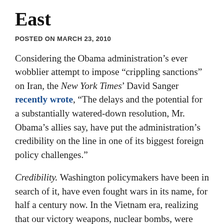East
POSTED ON MARCH 23, 2010
Considering the Obama administration’s ever wobblier attempt to impose “crippling sanctions” on Iran, the New York Times’ David Sanger recently wrote, “The delays and the potential for a substantially watered-down resolution, Mr. Obama’s allies say, have put the administration’s credibility on the line in one of its biggest foreign policy challenges.”
Credibility. Washington policymakers have been in search of it, have even fought wars in its name, for half a century now. In the Vietnam era, realizing that our victory weapons, nuclear bombs, were essentially too powerful to use...